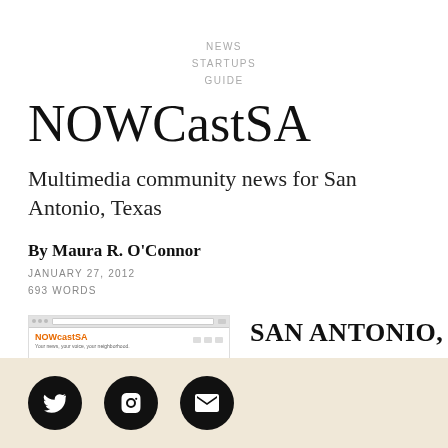NEWS
STARTUPS
GUIDE
NOWCastSA
Multimedia community news for San Antonio, Texas
By Maura R. O'Connor
JANUARY 27, 2012
693 WORDS
[Figure (screenshot): Screenshot of the NOWCastSA website showing the browser chrome and site logo]
SAN ANTONIO,